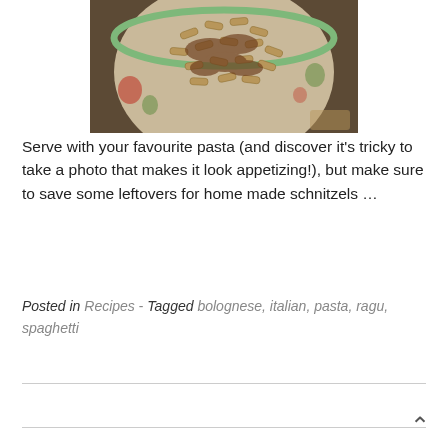[Figure (photo): A bowl of penne pasta with bolognese/ragu meat sauce, served in a decorative bowl with a floral pattern and green rim.]
Serve with your favourite pasta (and discover it's tricky to take a photo that makes it look appetizing!), but make sure to save some leftovers for home made schnitzels …
Posted in Recipes - Tagged bolognese, italian, pasta, ragu, spaghetti